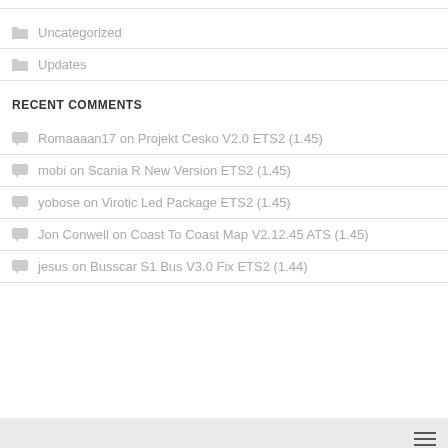Uncategorized
Updates
RECENT COMMENTS
Romaaaan17 on Projekt Cesko V2.0 ETS2 (1.45)
mobi on Scania R New Version ETS2 (1.45)
yobose on Virotic Led Package ETS2 (1.45)
Jon Conwell on Coast To Coast Map V2.12.45 ATS (1.45)
jesus on Busscar S1 Bus V3.0 Fix ETS2 (1.44)